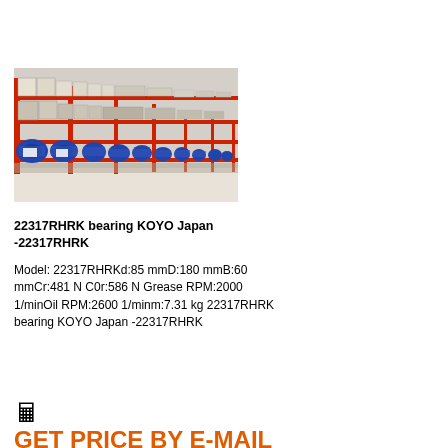[Figure (photo): Warehouse shelving with red metal racks holding blue bearing packages and white cardboard boxes with product labels.]
22317RHRK bearing KOYO Japan -22317RHRK
Model: 22317RHRKd:85 mmD:180 mmB:60 mmCr:481 N C0r:586 N Grease RPM:2000 1/minOil RPM:2600 1/minm:7.31 kg 22317RHRK bearing KOYO Japan -22317RHRK
🖩 GET PRICE BY E-MAIL